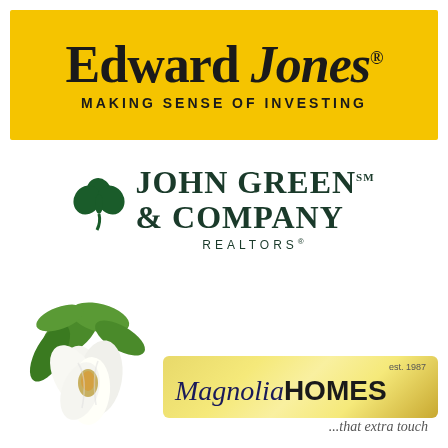[Figure (logo): Edward Jones logo on yellow background with text 'MAKING SENSE OF INVESTING']
[Figure (logo): John Green & Company Realtors logo with green shamrock]
[Figure (logo): Magnolia Homes logo with magnolia flower illustration, est. 1987, tagline '...that extra touch']